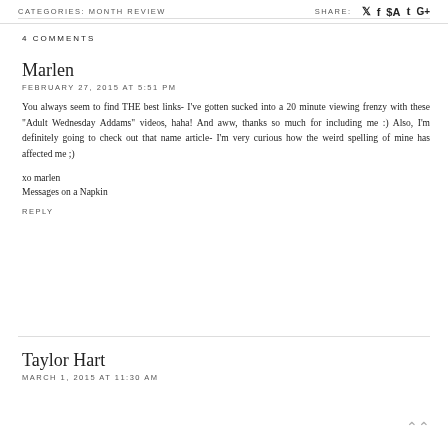CATEGORIES: MONTH REVIEW    SHARE:
4 COMMENTS
Marlen
FEBRUARY 27, 2015 AT 5:51 PM
You always seem to find THE best links- I've gotten sucked into a 20 minute viewing frenzy with these "Adult Wednesday Addams" videos, haha! And aww, thanks so much for including me :) Also, I'm definitely going to check out that name article- I'm very curious how the weird spelling of mine has affected me ;)
xo marlen
Messages on a Napkin
REPLY
Taylor Hart
MARCH 1, 2015 AT 11:30 AM